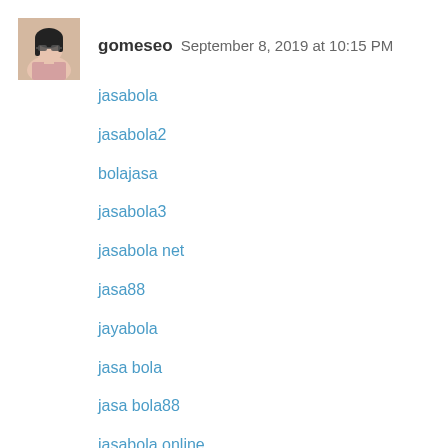[Figure (photo): Avatar photo of user gomeseo — woman with sunglasses and dark hair]
gomeseo  September 8, 2019 at 10:15 PM
jasabola
jasabola2
bolajasa
jasabola3
jasabola net
jasa88
jayabola
jasa bola
jasa bola88
jasabola online